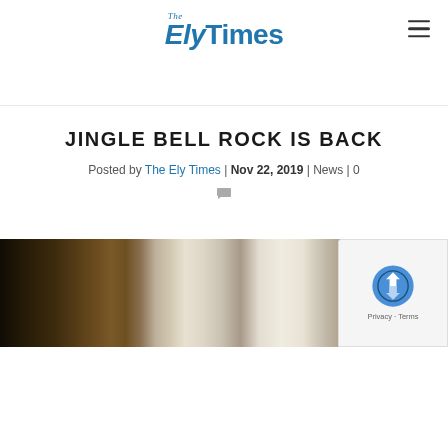The ElyTimes
JINGLE BELL ROCK IS BACK
Posted by The Ely Times | Nov 22, 2019 | News | 0
[Figure (photo): A dark indoor photograph showing two side-by-side images of what appears to be a storefront or interior display]
[Figure (logo): reCAPTCHA badge with Privacy and Terms links]